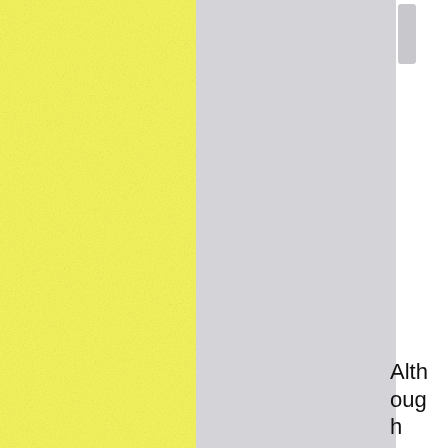[Figure (other): Yellow textured panel on the left side of the page, approximately 196px wide and full height]
[Figure (other): Light gray panel in the center-right portion of the page, approximately 200px wide and full height, with a white scrollbar-like element on the far right top]
Although you have